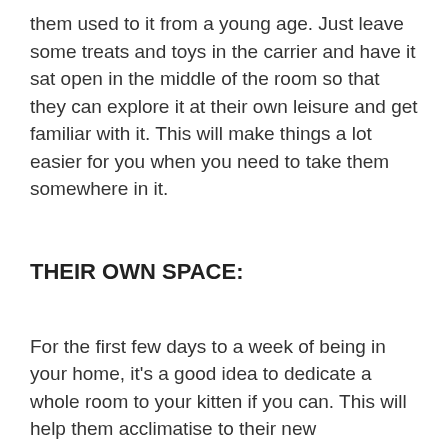them used to it from a young age. Just leave some treats and toys in the carrier and have it sat open in the middle of the room so that they can explore it at their own leisure and get familiar with it. This will make things a lot easier for you when you need to take them somewhere in it.
THEIR OWN SPACE:
For the first few days to a week of being in your home, it's a good idea to dedicate a whole room to your kitten if you can. This will help them acclimatise to their new surroundings and make it easier for them to settle in without getting overwhelmed. It's an essential step if you have any other pets since it allows them to 'scent swap' without actually meeting face to face, making things easier when they are finally introduced, as they will